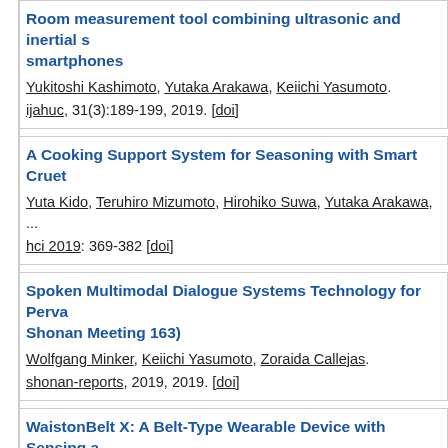Room measurement tool combining ultrasonic and inertial s... smartphones
Yukitoshi Kashimoto, Yutaka Arakawa, Keiichi Yasumoto.
ijahuc, 31(3):189-199, 2019. [doi]
A Cooking Support System for Seasoning with Smart Cruet...
Yuta Kido, Teruhiro Mizumoto, Hirohiko Suwa, Yutaka Arakawa, ...
hci 2019: 369-382 [doi]
Spoken Multimodal Dialogue Systems Technology for Perva... Shonan Meeting 163)
Wolfgang Minker, Keiichi Yasumoto, Zoraida Callejas.
shonan-reports, 2019, 2019. [doi]
WaistonBelt X: A Belt-Type Wearable Device with Sensing a... Toward Health Behavior Change
Yugo Nakamura, Yuki Matsuda, Yutaka Arakawa, Keiichi Yasum...
sensors, 19(20):4600, 2019. [doi]